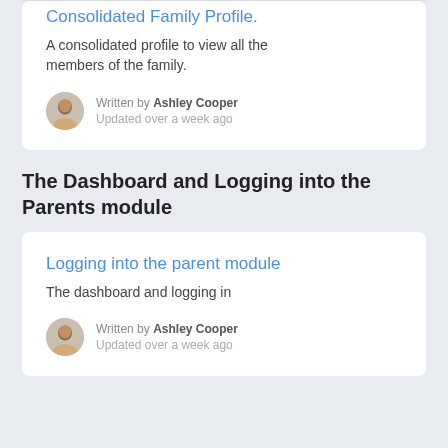Consolidated Family Profile.
A consolidated profile to view all the members of the family.
Written by Ashley Cooper
Updated over a week ago
The Dashboard and Logging into the Parents module
Logging into the parent module
The dashboard and logging in
Written by Ashley Cooper
Updated over a week ago